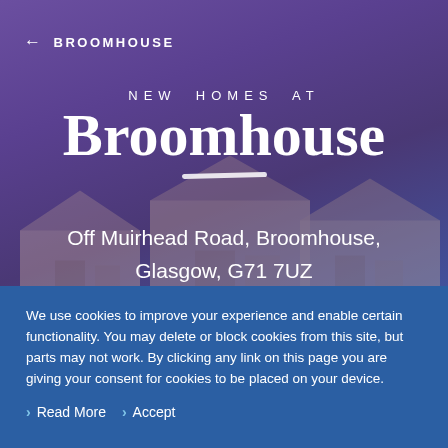← BROOMHOUSE
NEW HOMES AT
Broomhouse
Off Muirhead Road, Broomhouse, Glasgow, G71 7UZ
[Figure (illustration): Background photo of new-build houses with purple/blue overlay tint]
We use cookies to improve your experience and enable certain functionality. You may delete or block cookies from this site, but parts may not work. By clicking any link on this page you are giving your consent for cookies to be placed on your device.
> Read More
> Accept